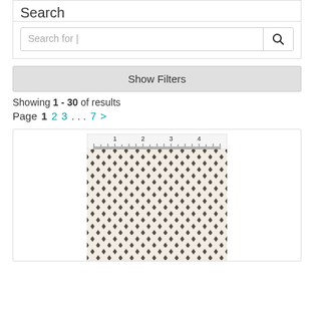Search
Search for |
Show Filters
Showing 1 - 30 of results
Page  1  2  3  . . .  7  >
[Figure (photo): Fabric swatch with a repeating diamond/ikat pattern in dark brown on cream background, shown with a ruler across the top measuring 1 to 4 inches.]